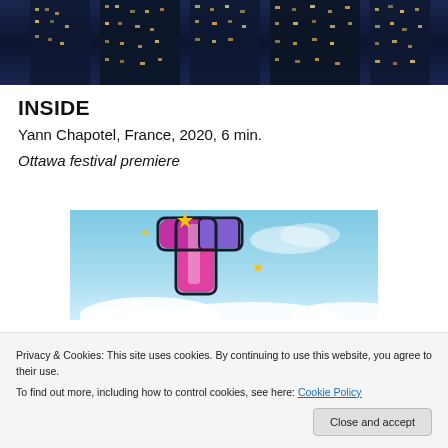[Figure (photo): Dark nighttime aerial photo of a dense urban high-rise building with lit windows against a dark blue background]
INSIDE
Yann Chapotel, France, 2020, 6 min.
Ottawa festival premiere
[Figure (illustration): Colorful animated logo/illustration featuring a pink and purple curved letter shape with sparkle stars on a light blue sky background]
Privacy & Cookies: This site uses cookies. By continuing to use this website, you agree to their use.
To find out more, including how to control cookies, see here: Cookie Policy
Close and accept